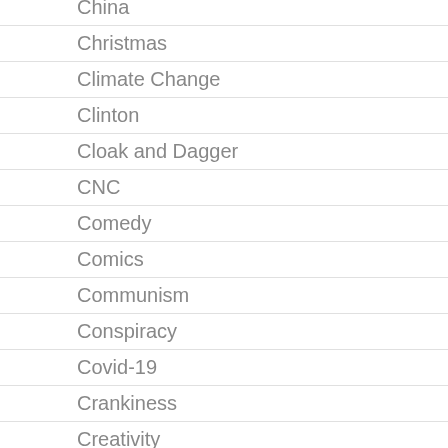China
Christmas
Climate Change
Clinton
Cloak and Dagger
CNC
Comedy
Comics
Communism
Conspiracy
Covid-19
Crankiness
Creativity
Crime